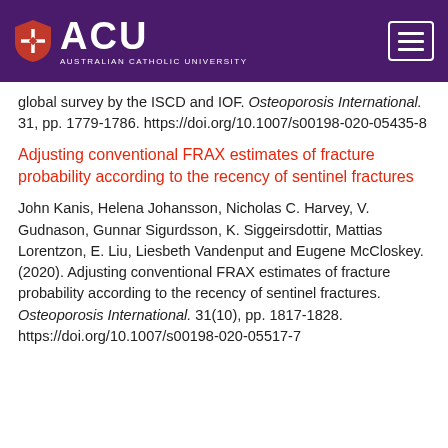ACU — Australian Catholic University
global survey by the ISCD and IOF. Osteoporosis International. 31, pp. 1779-1786. https://doi.org/10.1007/s00198-020-05435-8
Adjusting conventional FRAX estimates of fracture probability according to the recency of sentinel fractures
John Kanis, Helena Johansson, Nicholas C. Harvey, V. Gudnason, Gunnar Sigurdsson, K. Siggeirsdottir, Mattias Lorentzon, E. Liu, Liesbeth Vandenput and Eugene McCloskey. (2020). Adjusting conventional FRAX estimates of fracture probability according to the recency of sentinel fractures. Osteoporosis International. 31(10), pp. 1817-1828. https://doi.org/10.1007/s00198-020-05517-7